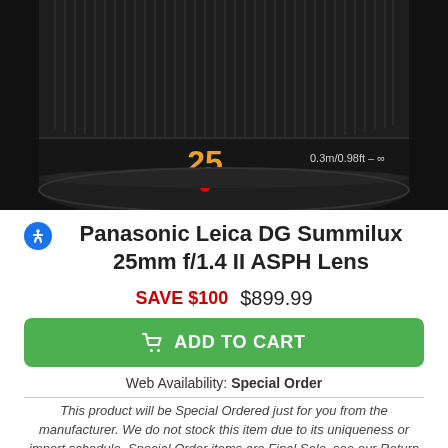[Figure (photo): Close-up photograph of a Panasonic Leica DG Summilux 25mm f/1.4 II ASPH lens, showing the front element with the number 25 in orange text and a red dot, with 0.3m/0.98ft-∞ markings visible. The lens is black on a dark background.]
Panasonic Leica DG Summilux 25mm f/1.4 II ASPH Lens
SAVE $100  $899.99
ADD TO CART
Web Availability: Special Order
This product will be Special Ordered just for you from the manufacturer. We do not stock this item due to its uniqueness or import schedule. Special Order items are Final Sale, see our Return Policy for details.